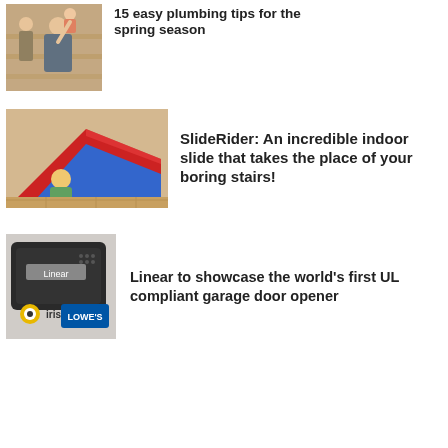[Figure (photo): Family standing on stairs, man holding baby, woman in background]
15 easy plumbing tips for the spring season
[Figure (photo): Child sitting on colorful indoor staircase slide (SlideRider product)]
SlideRider: An incredible indoor slide that takes the place of your boring stairs!
[Figure (photo): Linear garage door opener device with Iris and Lowe's logos]
Linear to showcase the world's first UL compliant garage door opener